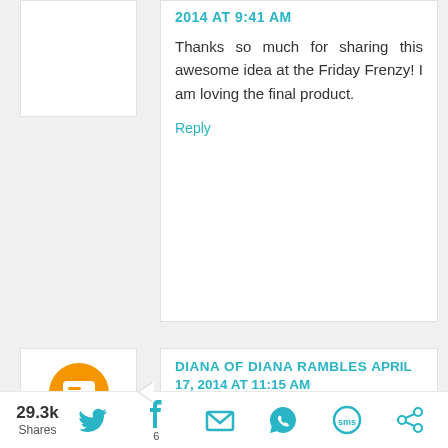2014 AT 9:41 AM
Thanks so much for sharing this awesome idea at the Friday Frenzy! I am loving the final product.
Reply
[Figure (logo): Blogger orange circle avatar icon]
DIANA OF DIANA RAMBLES APRIL 17, 2014 AT 11:15 AM
Congratulations! This post is going to be featured over at Diana Rambles tomorrow and has been pinned in the Featured at Diana Rambles board at Pinterest, Tweeted, and Recommended on G+. Please grab a featured button off my sidebar or via the link under the features. Thanks for sharing this
29.3k Shares  [Twitter] [Facebook 6] [Email] [WhatsApp] [SMS] [Other]